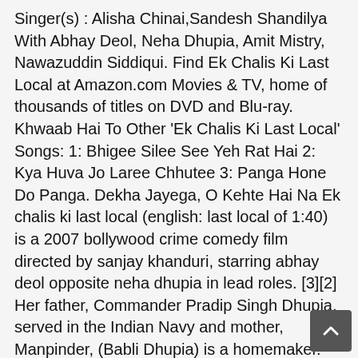Singer(s) : Alisha Chinai,Sandesh Shandilya With Abhay Deol, Neha Dhupia, Amit Mistry, Nawazuddin Siddiqui. Find Ek Chalis Ki Last Local at Amazon.com Movies & TV, home of thousands of titles on DVD and Blu-ray. Khwaab Hai To Other 'Ek Chalis Ki Last Local' Songs: 1: Bhigee Silee See Yeh Rat Hai 2: Kya Huva Jo Laree Chhutee 3: Panga Hone Do Panga. Dekha Jayega, O Kehte Hai Na Ek chalis ki last local (english: last local of 1:40) is a 2007 bollywood crime comedy film directed by sanjay khanduri, starring abhay deol opposite neha dhupia in lead roles. [3][2] Her father, Commander Pradip Singh Dhupia, served in the Indian Navy and mother, Manpinder, (Babli Dhupia) is a homemaker. even their was not much scope for songs some how Music director have done a great job. ive been searching for this song for such a long time but i never knew what it was called. Easy Letters Notes And Keyboard Notes For Beginners. Watch Ek Chalis Ki Last Local Movie on Disney+ Hotstar VIP now. Share on Facebook. Overall, though the way the different plots are put together is original and is worthy of appreciation. [5] After placing in the pageant, Dhupia intended to